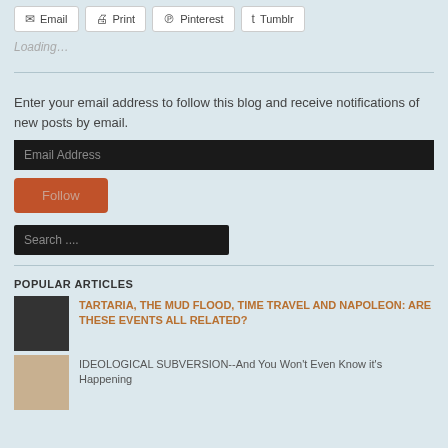Email
Print
Pinterest
Tumblr
Loading...
Enter your email address to follow this blog and receive notifications of new posts by email.
Email Address
Follow
Search ....
POPULAR ARTICLES
TARTARIA, THE MUD FLOOD, TIME TRAVEL AND NAPOLEON: ARE THESE EVENTS ALL RELATED?
IDEOLOGICAL SUBVERSION--And You Won't Even Know it's Happening